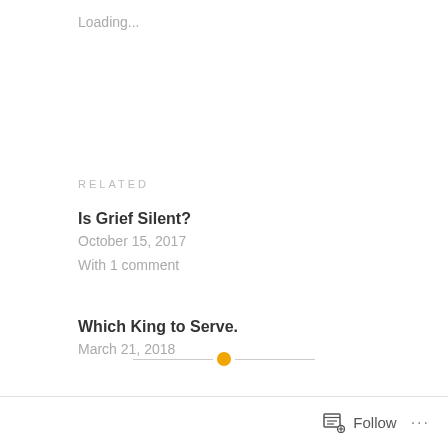Loading...
RELATED
Is Grief Silent?
October 15, 2017
With 1 comment
Which King to Serve.
March 21, 2018
Gratitude: Heaven
November 20, 2017
With 1 comment
Follow ...